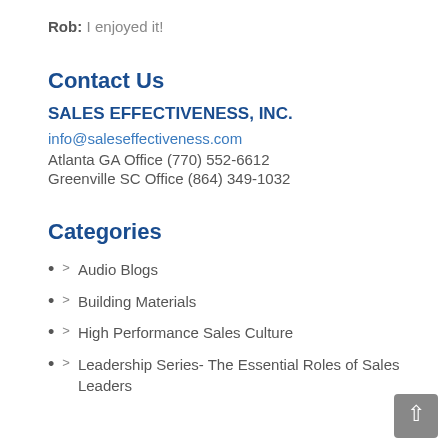Rob: I enjoyed it!
Contact Us
SALES EFFECTIVENESS, INC.
info@saleseffectiveness.com
Atlanta GA Office (770) 552-6612
Greenville SC Office (864) 349-1032
Categories
> Audio Blogs
> Building Materials
> High Performance Sales Culture
> Leadership Series- The Essential Roles of Sales Leaders